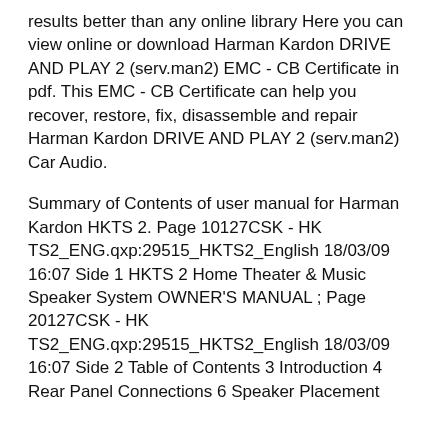results better than any online library Here you can view online or download Harman Kardon DRIVE AND PLAY 2 (serv.man2) EMC - CB Certificate in pdf. This EMC - CB Certificate can help you recover, restore, fix, disassemble and repair Harman Kardon DRIVE AND PLAY 2 (serv.man2) Car Audio.
Summary of Contents of user manual for Harman Kardon HKTS 2. Page 10127CSK - HK TS2_ENG.qxp:29515_HKTS2_English 18/03/09 16:07 Side 1 HKTS 2 Home Theater & Music Speaker System OWNER'S MANUAL ; Page 20127CSK - HK TS2_ENG.qxp:29515_HKTS2_English 18/03/09 16:07 Side 2 Table of Contents 3 Introduction 4 Rear Panel Connections 6 Speaker Placement